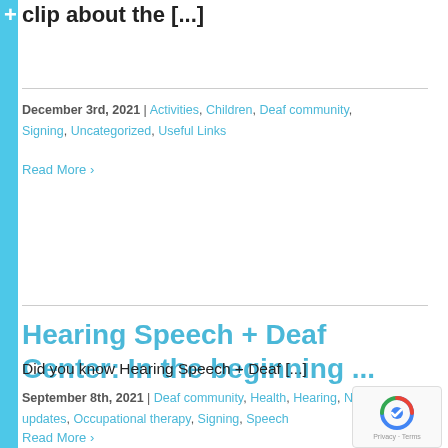clip about the [...]
December 3rd, 2021 | Activities, Children, Deaf community, Signing, Uncategorized, Useful Links
Read More >
Hearing Speech + Deaf Center: In the beginning ...
Did you know Hearing Speech + Deaf [...]
September 8th, 2021 | Deaf community, Health, Hearing, News updates, Occupational therapy, Signing, Speech
Read More >